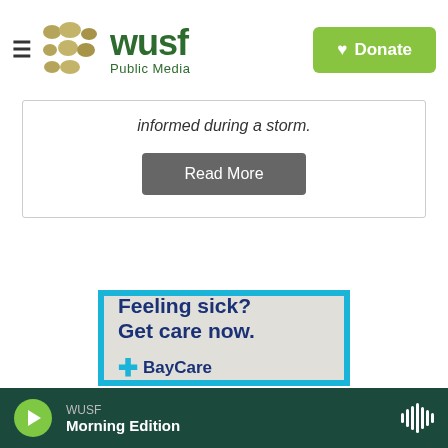[Figure (logo): WUSF Public Media logo with golden dots and green text, plus green Donate button]
informed during a storm.
Read More
[Figure (advertisement): BayCare advertisement: 'Feeling sick? Get care now.' with BayCare logo on blue-bordered light gray background]
WUSF Morning Edition (audio player bar)